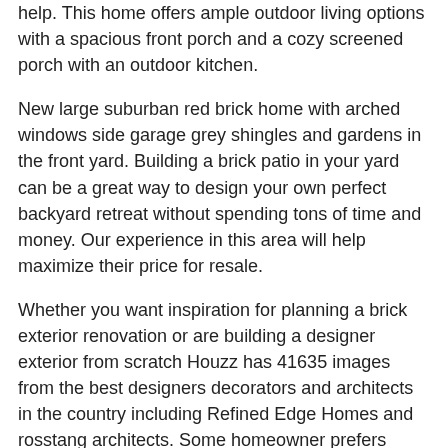help. This home offers ample outdoor living options with a spacious front porch and a cozy screened porch with an outdoor kitchen.
New large suburban red brick home with arched windows side garage grey shingles and gardens in the front yard. Building a brick patio in your yard can be a great way to design your own perfect backyard retreat without spending tons of time and money. Our experience in this area will help maximize their price for resale.
Whether you want inspiration for planning a brick exterior renovation or are building a designer exterior from scratch Houzz has 41635 images from the best designers decorators and architects in the country including Refined Edge Homes and rosstang architects. Some homeowner prefers stone flooring and a brick wall to enhance the charm of the house. Simple Brick House Plans 2 Story 2420 sqft-Home.
If you love the benefits of a brick home you can find brick house designs in a variety of styles and sizes. Whether you want inspiration for planning a brick exterior home renovation or are building a designer exterior home from scratch Houzz has 41634 images from the best designers decorators and architects in the country including